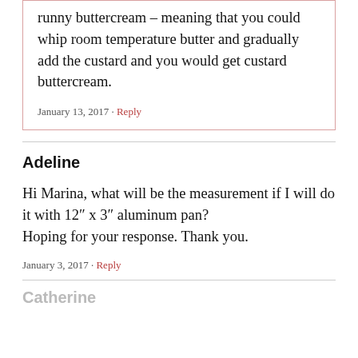runny buttercream – meaning that you could whip room temperature butter and gradually add the custard and you would get custard buttercream.
January 13, 2017 · Reply
Adeline
Hi Marina, what will be the measurement if I will do it with 12″ x 3″ aluminum pan?
Hoping for your response. Thank you.
January 3, 2017 · Reply
Catherine